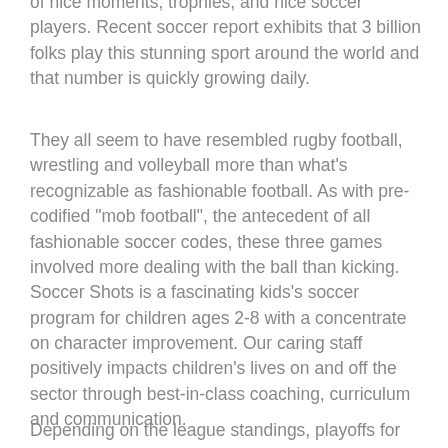of nice moments, trophies, and nice soccer players. Recent soccer report exhibits that 3 billion folks play this stunning sport around the world and that number is quickly growing daily.
They all seem to have resembled rugby football, wrestling and volleyball more than what's recognizable as fashionable football. As with pre-codified "mob football", the antecedent of all fashionable soccer codes, these three games involved more dealing with the ball than kicking. Soccer Shots is a fascinating kids's soccer program for children ages 2-8 with a concentrate on character improvement. Our caring staff positively impacts children's lives on and off the sector through best-in-class coaching, curriculum and communication.
Depending on the league standings, playoffs for the